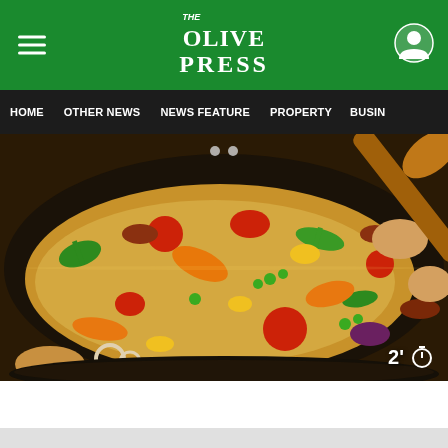The Olive Press - navigation header with logo and menu
HOME
OTHER NEWS
NEWS FEATURE
PROPERTY
BUSIN...
[Figure (photo): A wok pan filled with colorful stir-fried vegetables and rice including red tomatoes, green peppers, orange carrots, corn, peas, and other mixed vegetables being stirred with a wooden spoon. A timer overlay shows 2' and a timer icon in the bottom right.]